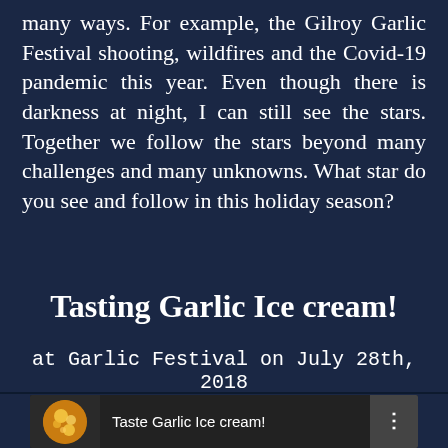many ways. For example, the Gilroy Garlic Festival shooting, wildfires and the Covid-19 pandemic this year. Even though there is darkness at night, I can still see the stars. Together we follow the stars beyond many challenges and many unknowns. What star do you see and follow in this holiday season?
Tasting Garlic Ice cream!
at Garlic Festival on July 28th, 2018
[Figure (screenshot): Video thumbnail showing a circular profile image with lights and text 'Taste Garlic Ice cream!' with a three-dot menu icon on the right]